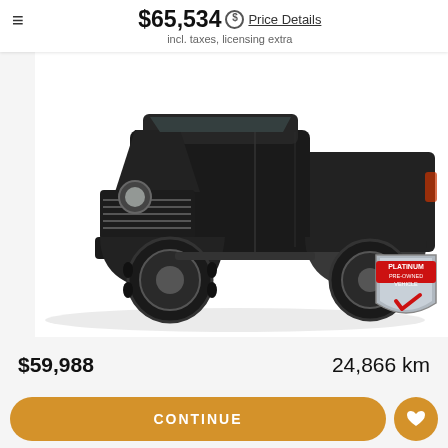$65,534  Price Details
incl. taxes, licensing extra
[Figure (photo): Black Jeep Gladiator truck viewed from front-left angle on white background, with a Platinum Pre-Owned Vehicle shield badge in the lower right corner of the image]
$59,988
24,866 km
1 of 15
CONTINUE